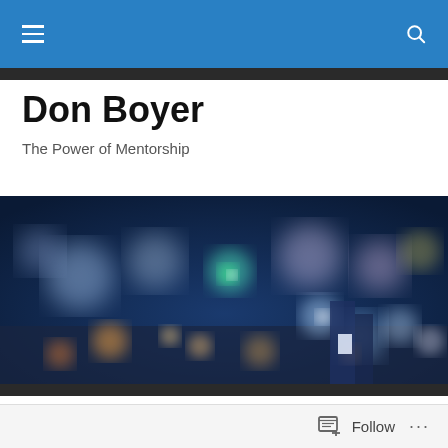Don Boyer — The Power of Mentorship (navigation bar with hamburger menu and search icon)
Don Boyer
The Power of Mentorship
[Figure (photo): Blurred bokeh cityscape at night with colorful out-of-focus lights in blue, orange, and warm tones against a dark sky.]
TAGGED WITH NUGGETS
Create Big Dreams
Follow ...